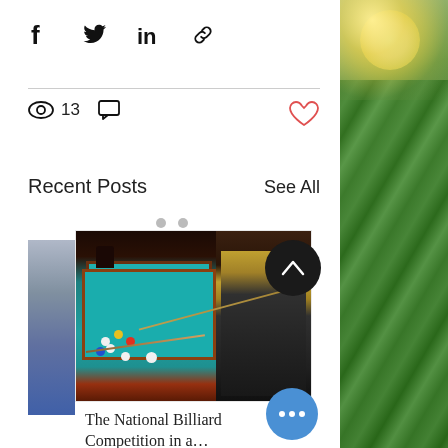[Figure (infographic): Social share icons row: Facebook, Twitter, LinkedIn, Link/chain icon]
[Figure (infographic): Stats row: eye icon with count 13, comment bubble icon; heart icon (red) on right]
Recent Posts
See All
[Figure (photo): Photo of a person in a wheelchair playing billiards at a billiard table with blue felt, pool balls visible]
The National Billiard Competition in a…
[Figure (photo): Right side green foliage/leaves photo strip with sunlight]
[Figure (photo): Left partial image strip, partially visible]